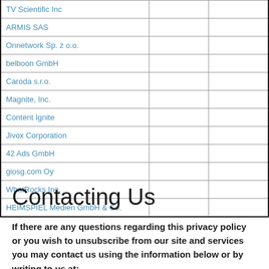| TV Scientific Inc |  |  |
| ARMIS SAS |  |  |
| Onnetwork Sp. z o.o. |  |  |
| belboon GmbH |  |  |
| Caroda s.r.o. |  |  |
| Magnite, Inc. |  |  |
| Content Ignite |  |  |
| Jivox Corporation |  |  |
| 42 Ads GmbH |  |  |
| giosg.com Oy |  |  |
| WhatRocks Inc. |  |  |
| HEIMSPIEL Medien GmbH & Co. |  |  |
Contacting Us
If there are any questions regarding this privacy policy or you wish to unsubscribe from our site and services you may contact us using the information below or by writing to us at: